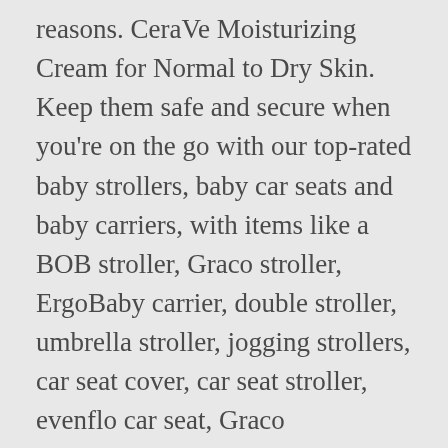reasons. CeraVe Moisturizing Cream for Normal to Dry Skin. Keep them safe and secure when you're on the go with our top-rated baby strollers, baby car seats and baby carriers, with items like a BOB stroller, Graco stroller, ErgoBaby carrier, double stroller, umbrella stroller, jogging strollers, car seat cover, car seat stroller, evenflo car seat, Graco Extend2Fit, car seat canopie, infant car seat, Graco 4Ever, Bumbo seat, convertible car seat, Britax car seat, Chicco car seat, chicco keyfit 30, Graco car seat, toddler car seat, booster car seat, BabyBjorn, and tula baby carrier. EWG scientists reviewed the CeraVe Baby Moisturizing Lotion product label collected on